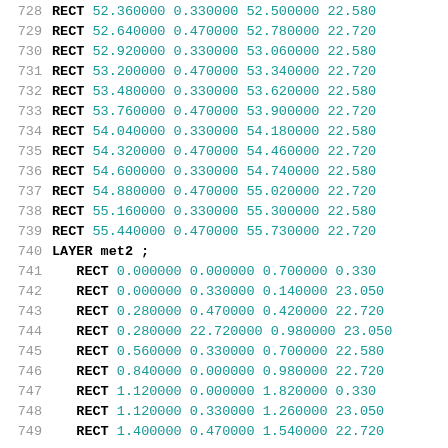| line | keyword | col1 | col2 | col3 | col4 |
| --- | --- | --- | --- | --- | --- |
| 728 | RECT | 52.360000 | 0.330000 | 52.500000 | 22.580 |
| 729 | RECT | 52.640000 | 0.470000 | 52.780000 | 22.720 |
| 730 | RECT | 52.920000 | 0.330000 | 53.060000 | 22.580 |
| 731 | RECT | 53.200000 | 0.470000 | 53.340000 | 22.720 |
| 732 | RECT | 53.480000 | 0.330000 | 53.620000 | 22.580 |
| 733 | RECT | 53.760000 | 0.470000 | 53.900000 | 22.720 |
| 734 | RECT | 54.040000 | 0.330000 | 54.180000 | 22.580 |
| 735 | RECT | 54.320000 | 0.470000 | 54.460000 | 22.720 |
| 736 | RECT | 54.600000 | 0.330000 | 54.740000 | 22.580 |
| 737 | RECT | 54.880000 | 0.470000 | 55.020000 | 22.720 |
| 738 | RECT | 55.160000 | 0.330000 | 55.300000 | 22.580 |
| 739 | RECT | 55.440000 | 0.470000 | 55.730000 | 22.720 |
| 740 | LAYER met2 ; |  |  |  |  |
| 741 | RECT | 0.000000 | 0.000000 | 0.700000 | 0.330 |
| 742 | RECT | 0.000000 | 0.330000 | 0.140000 | 23.050 |
| 743 | RECT | 0.280000 | 0.470000 | 0.420000 | 22.720 |
| 744 | RECT | 0.280000 | 22.720000 | 0.980000 | 23.050 |
| 745 | RECT | 0.560000 | 0.330000 | 0.700000 | 22.580 |
| 746 | RECT | 0.840000 | 0.000000 | 0.980000 | 22.720 |
| 747 | RECT | 1.120000 | 0.000000 | 1.820000 | 0.330 |
| 748 | RECT | 1.120000 | 0.330000 | 1.260000 | 23.050 |
| 749 | RECT | 1.400000 | 0.470000 | 1.540000 | 22.720 |